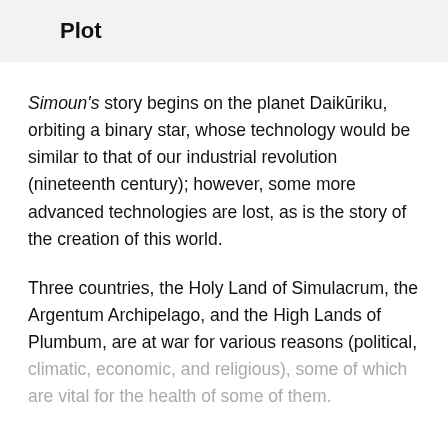Plot
Simoun's story begins on the planet Daikūriku, orbiting a binary star, whose technology would be similar to that of our industrial revolution (nineteenth century); however, some more advanced technologies are lost, as is the story of the creation of this world.
Three countries, the Holy Land of Simulacrum, the Argentum Archipelago, and the High Lands of Plumbum, are at war for various reasons (political, climatic, economic, and religious), some of which are vital for the health of some of them.